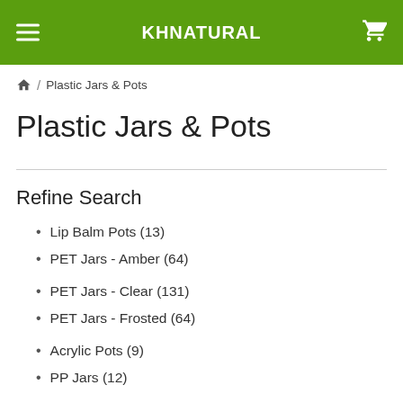KHNATURAL
Home / Plastic Jars & Pots
Plastic Jars & Pots
Refine Search
Lip Balm Pots (13)
PET Jars - Amber (64)
PET Jars - Clear (131)
PET Jars - Frosted (64)
Acrylic Pots (9)
PP Jars (12)
Double Wall Jars (3)